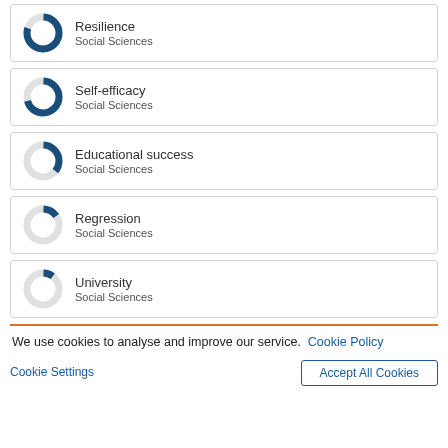[Figure (donut-chart): Donut chart showing high fill (about 75-80%) in dark blue for Resilience, Social Sciences]
Resilience
Social Sciences
[Figure (donut-chart): Donut chart showing high fill (about 70%) in dark blue for Self-efficacy, Social Sciences]
Self-efficacy
Social Sciences
[Figure (donut-chart): Donut chart showing moderate fill (about 35%) in dark blue for Educational success, Social Sciences]
Educational success
Social Sciences
[Figure (donut-chart): Donut chart showing small fill (about 15%) in dark blue for Regression, Social Sciences]
Regression
Social Sciences
[Figure (donut-chart): Donut chart showing very small fill (about 10%) in dark blue for University, Social Sciences]
University
Social Sciences
We use cookies to analyse and improve our service. Cookie Policy
Cookie Settings   Accept All Cookies